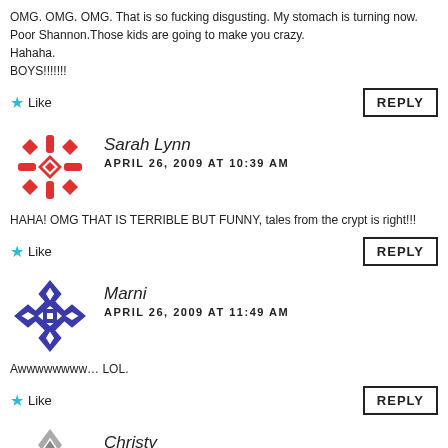OMG. OMG. OMG. That is so fucking disgusting. My stomach is turning now.
Poor Shannon.Those kids are going to make you crazy.
Hahaha.
BOYS!!!!!!!
Like
REPLY
[Figure (illustration): Red geometric snowflake avatar for Sarah Lynn]
Sarah Lynn
APRIL 26, 2009 AT 10:39 AM
HAHA! OMG THAT IS TERRIBLE BUT FUNNY, tales from the crypt is right!!!
Like
REPLY
[Figure (illustration): Blue geometric diamond pattern avatar for Marni]
Marni
APRIL 26, 2009 AT 11:49 AM
Awwwwwwww… LOL.
Like
REPLY
[Figure (illustration): Gray geometric pattern avatar for Christy]
Christy
APRIL 26, 2009 AT 1:25 PM
Ewwwww…